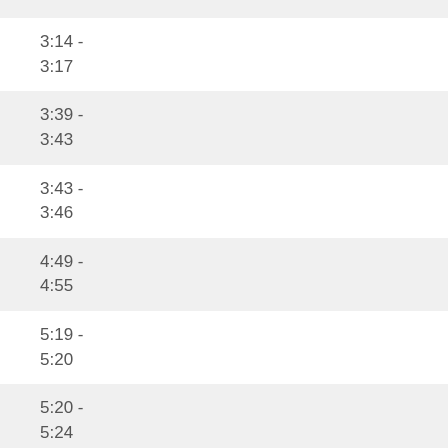3:14 - 3:17
3:39 - 3:43
3:43 - 3:46
4:49 - 4:55
5:19 - 5:20
5:20 - 5:24
5:25 - 5:27